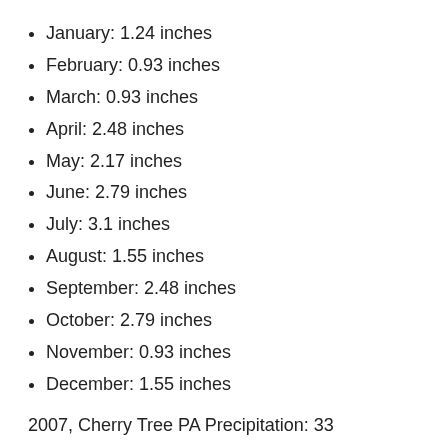January: 1.24 inches
February: 0.93 inches
March: 0.93 inches
April: 2.48 inches
May: 2.17 inches
June: 2.79 inches
July: 3.1 inches
August: 1.55 inches
September: 2.48 inches
October: 2.79 inches
November: 0.93 inches
December: 1.55 inches
2007, Cherry Tree PA Precipitation: 33
January: 1.32 inches
February: 1.65 inches
March: 1.32 inches
April: 2.31 inches
May: 2.64 inches